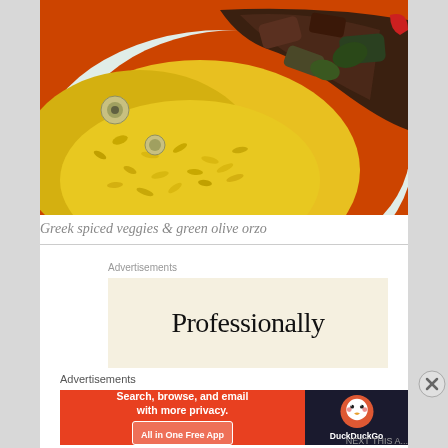[Figure (photo): Close-up photograph of a plate with Greek spiced vegetables and green olive orzo pasta. The orzo is bright yellow/turmeric colored with green olives, served on an orange plate.]
Greek spiced veggies & green olive orzo
Advertisements
[Figure (screenshot): Advertisement banner with cream background showing the word 'Professionally' in large black serif text.]
Advertisements
[Figure (screenshot): DuckDuckGo advertisement banner. Left orange section reads: 'Search, browse, and email with more privacy. All in One Free App'. Right dark section shows the DuckDuckGo duck logo and 'DuckDuckGo' text.]